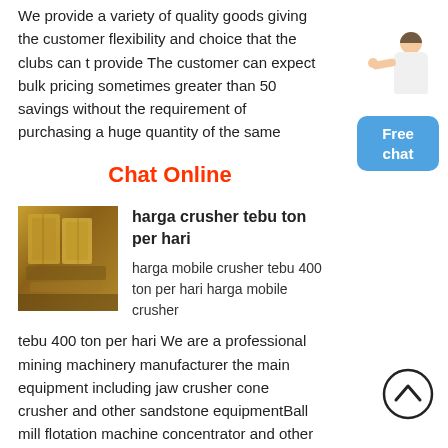We provide a variety of quality goods giving the customer flexibility and choice that the clubs cant provide The customer can expect bulk pricing sometimes greater than 50 savings without the requirement of purchasing a huge quantity of the same
Chat Online
[Figure (photo): Photo of industrial crusher/yellow machinery equipment]
harga crusher tebu ton per hari
harga mobile crusher tebu 400 ton per hari harga mobile crusher tebu 400 ton per hari We are a professional mining machinery manufacturer the main equipment including jaw crusher cone crusher and other sandstone equipmentBall mill flotation machine concentrator and other beneficiation equipment Powder Grinding Plant rotary dryer briquette machine mining metallurgy and other